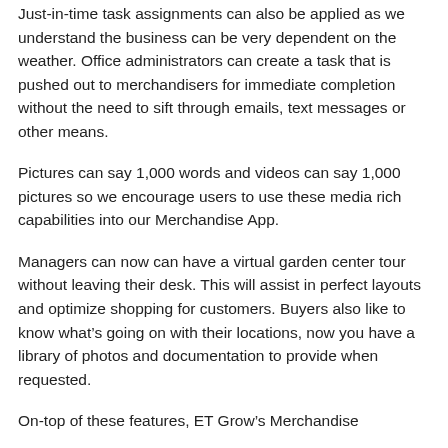Just-in-time task assignments can also be applied as we understand the business can be very dependent on the weather. Office administrators can create a task that is pushed out to merchandisers for immediate completion without the need to sift through emails, text messages or other means.
Pictures can say 1,000 words and videos can say 1,000 pictures so we encourage users to use these media rich capabilities into our Merchandise App.
Managers can now can have a virtual garden center tour without leaving their desk. This will assist in perfect layouts and optimize shopping for customers. Buyers also like to know what's going on with their locations, now you have a library of photos and documentation to provide when requested.
On-top of these features, ET Grow's Merchandise